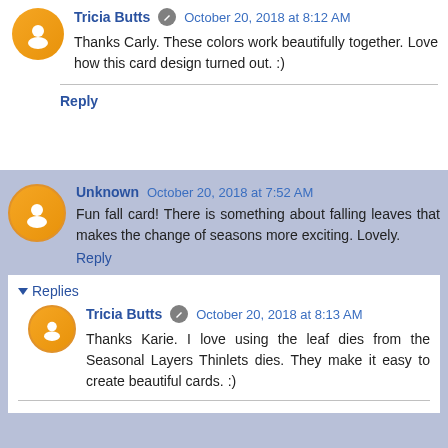Tricia Butts · October 20, 2018 at 8:12 AM
Thanks Carly. These colors work beautifully together. Love how this card design turned out. :)
Reply
Unknown October 20, 2018 at 7:52 AM
Fun fall card! There is something about falling leaves that makes the change of seasons more exciting. Lovely.
Reply
Replies
Tricia Butts · October 20, 2018 at 8:13 AM
Thanks Karie. I love using the leaf dies from the Seasonal Layers Thinlets dies. They make it easy to create beautiful cards. :)